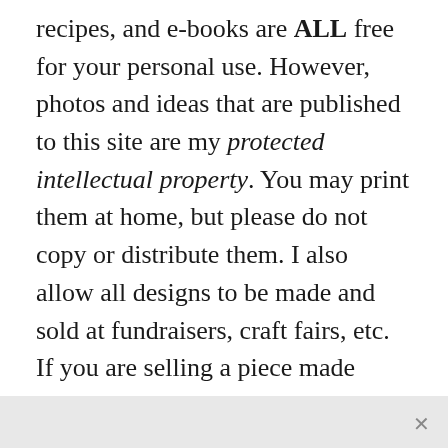recipes, and e-books are ALL free for your personal use. However, photos and ideas that are published to this site are my protected intellectual property. You may print them at home, but please do not copy or distribute them. I also allow all designs to be made and sold at fundraisers, craft fairs, etc. If you are selling a piece made from one or more of my free tutorials in your online shop, I require that you use your own, original photography, and include a link back to my website to credit me as the designer.
I hope you enjoy what you read here, and